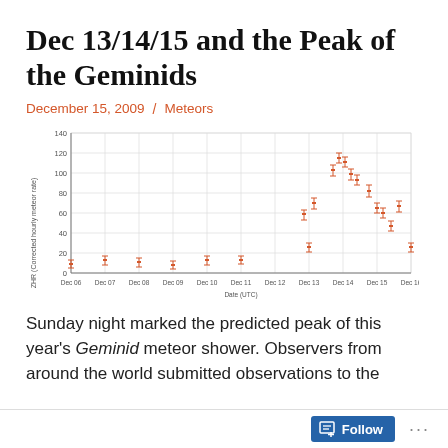Dec 13/14/15 and the Peak of the Geminids
December 15, 2009 / Meteors
[Figure (scatter-plot): Scatter plot with error bars showing ZHR (Corrected hourly meteor rate) vs date in UTC from Dec 06 to Dec 16. Data points are salmon/red colored with error bars. Values near zero (~5-10) from Dec 06-11, rising steeply on Dec 13 (~27), with peak around Dec 14 (~105-125), then declining on Dec 15 (~45-55) toward Dec 16.]
Sunday night marked the predicted peak of this year's Geminid meteor shower. Observers from around the world submitted observations to the